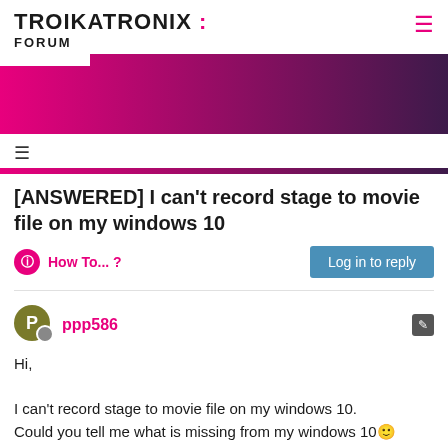TROIKATRONIX : FORUM
[Figure (illustration): Pink to dark purple gradient banner with a white tab at top-left corner]
☰
[ANSWERED] I can't record stage to movie file on my windows 10
How To... ?
Log in to reply
ppp586
Hi,

I can't record stage to movie file on my windows 10.
Could you tell me what is missing from my windows 10🙂